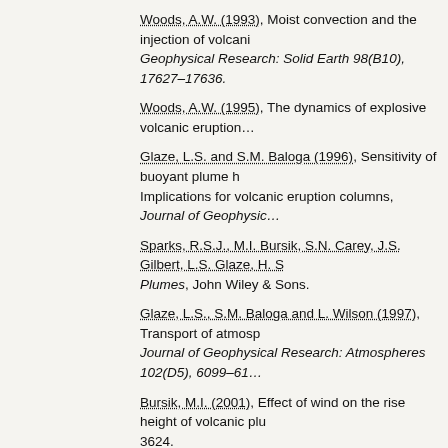Woods, A.W. (1993), Moist convection and the injection of volcanic ash into the atmosphere, Journal of Geophysical Research: Solid Earth 98(B10), 17627–17636.
Woods, A.W. (1995), The dynamics of explosive volcanic eruptions…
Glaze, L.S. and S.M. Baloga (1996), Sensitivity of buoyant plume heights to ambient atmospheric conditions: Implications for volcanic eruption columns, Journal of Geophysical Research…
Sparks, R.S.J., M.I. Bursik, S.N. Carey, J.S. Gilbert, L.S. Glaze, H. S… Volcanic Plumes, John Wiley & Sons.
Glaze, L.S., S.M. Baloga and L. Wilson (1997), Transport of atmospheric water vapor by volcanic eruption columns, Journal of Geophysical Research: Atmospheres 102(D5), 6099–61…
Bursik, M.I. (2001), Effect of wind on the rise height of volcanic plumes, Geophysical Research Letters 28(18), 3621–3624.
Mastin, L.G. (2007), A user-friendly one-dimensional model for wet volcanic plumes, Geochemistry, Geophysics, Geosystems 8(3).
Bursik, M.I., et al. (2009), Volcanic plumes and wind: Jetstream interaction examples and forecasting use, Journal of Volcanology and Geothermal Research 186 (1–2), 60–…
Mastin, L.G., et al. (2009), A multidisciplinary effort to assign realistic source parameters to models of volcanic ash-cloud transport and dispersion during eruptions, Journal of Volcanology and Geothermal Research 186(1–2), 10–21.